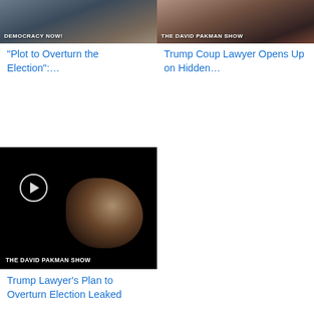[Figure (screenshot): Democracy Now! video thumbnail showing news broadcast]
“Plot to Overturn the Election”:…
[Figure (screenshot): The David Pakman Show video thumbnail]
Trump Coup Lawyer Opens Up on Hidden…
[Figure (screenshot): The David Pakman Show video thumbnail with play button showing person at podium]
Trump Lawyer’s Plan to Overturn Election Leaked